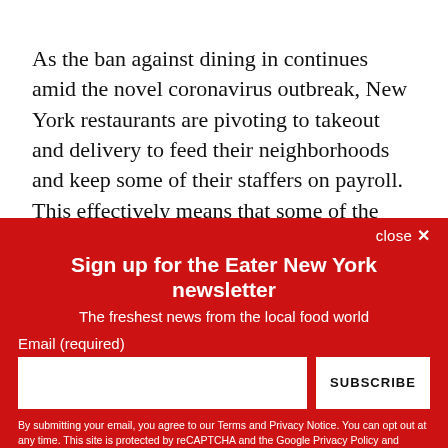As the ban against dining in continues amid the novel coronavirus outbreak, New York restaurants are pivoting to takeout and delivery to feed their neighborhoods and keep some of their staffers on payroll. This effectively means that some of the city's toughest-to-get-into establishments — venues that sometimes require a month-ahead booking or a two-hour wait — are offering speedier access to their exclusive menus.
close ✕
Sign up for the Eater New York newsletter
The freshest news from the local food world
Email (required)
SUBSCRIBE
By submitting your email, you agree to our Terms and Privacy Notice. You can opt out at any time. This site is protected by reCAPTCHA and the Google Privacy Policy and Terms of Service apply.